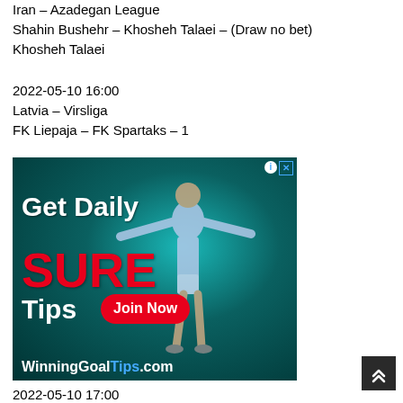Iran – Azadegan League
Shahin Bushehr – Khosheh Talaei – (Draw no bet)
Khosheh Talaei
2022-05-10 16:00
Latvia – Virsliga
FK Liepaja – FK Spartaks – 1
[Figure (photo): Advertisement banner for WinningGoalTips.com featuring a footballer with arms spread wide on a teal background. Text reads 'Get Daily SURE Tips Join Now WinningGoalTips.com']
2022-05-10 17:00